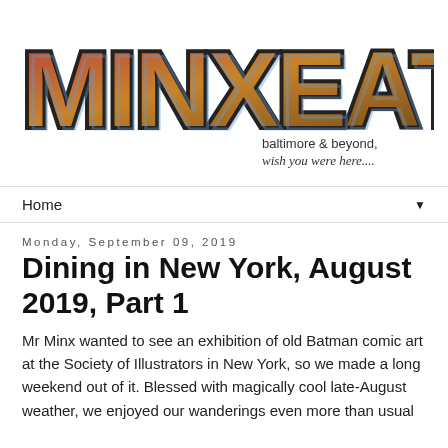[Figure (logo): MINXEATS blog logo with large decorative letters filled with food and city photos, subtitle 'baltimore & beyond, wish you were here....']
Home ▼
Monday, September 09, 2019
Dining in New York, August 2019, Part 1
Mr Minx wanted to see an exhibition of old Batman comic art at the Society of Illustrators in New York, so we made a long weekend out of it. Blessed with magically cool late-August weather, we enjoyed our wanderings even more than usual